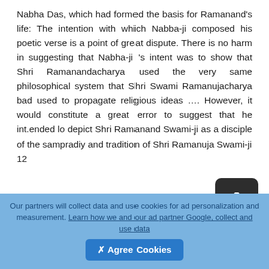Nabha Das, which had formed the basis for Ramanand's life: The intention with which Nabba-ji composed his poetic verse is a point of great dispute. There is no harm in suggesting that Nabha-ji 's intent was to show that Shri Ramanandacharya used the very same philosophical system that Shri Swami Ramanujacharya bad used to propagate religious ideas …. However, it would constitute a great error to suggest that he int.ended lo depict Shri Ramanand Swami-ji as a disciple of the sampradiy and tradition of Shri Ramanuja Swami-ji 12
PtlritattvinusandhIyini samiti) is descnl>ed as having been fonned in 1918 al the urgings ofSitaramiya
Our partners will collect data and use cookies for ad personalization and measurement. Learn how we and our ad partner Google, collect and use data